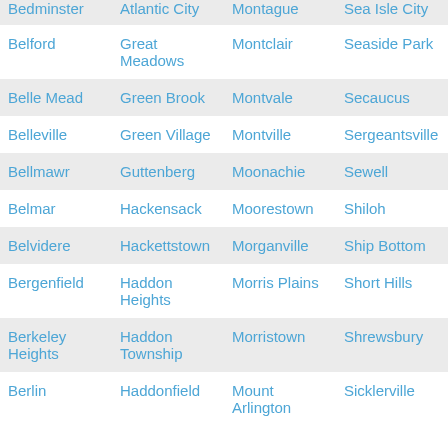| Bedminster | Atlantic City | Montague | Sea Isle City |
| Belford | Great Meadows | Montclair | Seaside Park |
| Belle Mead | Green Brook | Montvale | Secaucus |
| Belleville | Green Village | Montville | Sergeantsville |
| Bellmawr | Guttenberg | Moonachie | Sewell |
| Belmar | Hackensack | Moorestown | Shiloh |
| Belvidere | Hackettstown | Morganville | Ship Bottom |
| Bergenfield | Haddon Heights | Morris Plains | Short Hills |
| Berkeley Heights | Haddon Township | Morristown | Shrewsbury |
| Berlin | Haddonfield | Mount Arlington | Sicklerville |